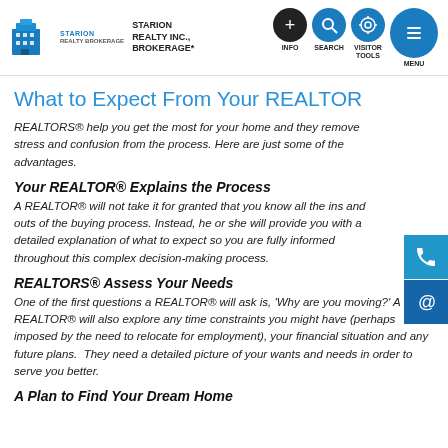[Figure (logo): Starion Realty Inc., Brokerage logo with building icon and navigation icons for INFO, SEARCH, VISITOR TOOLS, MENU]
What to Expect From Your REALTOR
REALTORS® help you get the most for your home and they remove stress and confusion from the process. Here are just some of the advantages.
Your REALTOR® Explains the Process
A REALTOR® will not take it for granted that you know all the ins and outs of the buying process. Instead, he or she will provide you with a detailed explanation of what to expect so you are fully informed throughout this complex decision-making process.
REALTORS® Assess Your Needs
One of the first questions a REALTOR® will ask is, 'Why are you moving?' A REALTOR® will also explore any time constraints you might have (perhaps imposed by the need to relocate for employment), your financial situation and any future plans.  They need a detailed picture of your wants and needs in order to serve you better.
A Plan to Find Your Dream Home